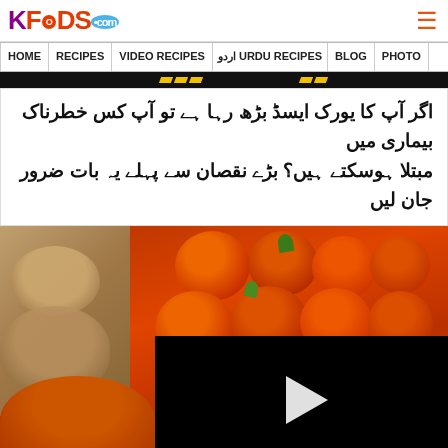KFOODS.com
HOME | RECIPES | VIDEO RECIPES | URDU RECIPES اردو | BLOG | PHOTO
اگر آپ کا یورک ایسڈ بڑھ رہا ہے تو آپ کس خطرناک بیماری میں مبتلا ہوسکتے ہیں؟ بڑے نقصان سے پہلے یہ بات ضرور جان لیں
[Figure (photo): Photo of tomatoes and potatoes at a market, with a black video player overlay showing a play button in the center]